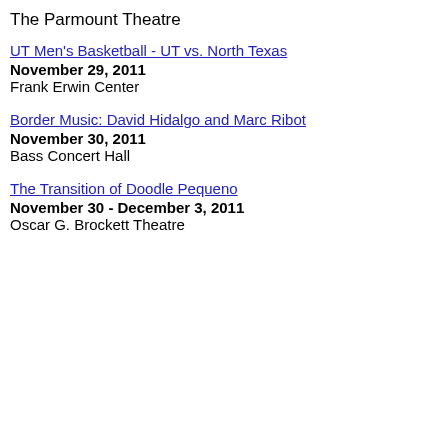The Parmount Theatre
UT Men's Basketball - UT vs. North Texas
November 29, 2011
Frank Erwin Center
Border Music: David Hidalgo and Marc Ribot
November 30, 2011
Bass Concert Hall
The Transition of Doodle Pequeno
November 30 - December 3, 2011
Oscar G. Brockett Theatre